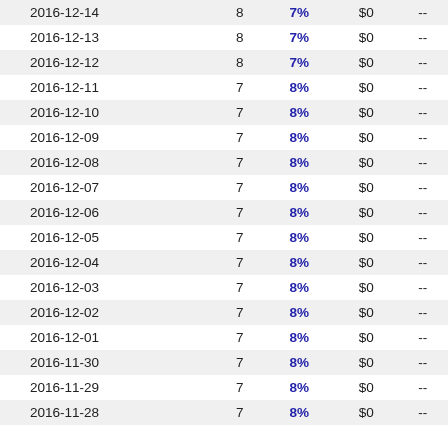| 2016-12-14 | 8 | 7% | $0 | -- |
| 2016-12-13 | 8 | 7% | $0 | -- |
| 2016-12-12 | 8 | 7% | $0 | -- |
| 2016-12-11 | 7 | 8% | $0 | -- |
| 2016-12-10 | 7 | 8% | $0 | -- |
| 2016-12-09 | 7 | 8% | $0 | -- |
| 2016-12-08 | 7 | 8% | $0 | -- |
| 2016-12-07 | 7 | 8% | $0 | -- |
| 2016-12-06 | 7 | 8% | $0 | -- |
| 2016-12-05 | 7 | 8% | $0 | -- |
| 2016-12-04 | 7 | 8% | $0 | -- |
| 2016-12-03 | 7 | 8% | $0 | -- |
| 2016-12-02 | 7 | 8% | $0 | -- |
| 2016-12-01 | 7 | 8% | $0 | -- |
| 2016-11-30 | 7 | 8% | $0 | -- |
| 2016-11-29 | 7 | 8% | $0 | -- |
| 2016-11-28 | 7 | 8% | $0 | -- |